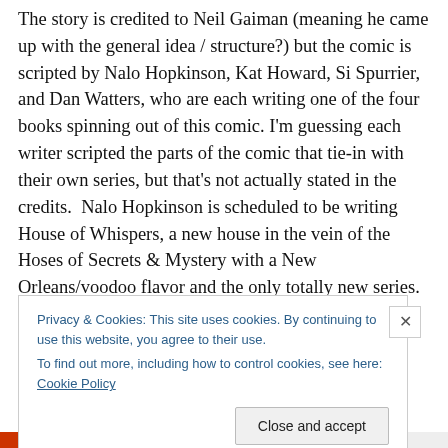The story is credited to Neil Gaiman (meaning he came up with the general idea / structure?) but the comic is scripted by Nalo Hopkinson, Kat Howard, Si Spurrier, and Dan Watters, who are each writing one of the four books spinning out of this comic. I'm guessing each writer scripted the parts of the comic that tie-in with their own series, but that's not actually stated in the credits.  Nalo Hopkinson is scheduled to be writing House of Whispers, a new house in the vein of the Hoses of Secrets & Mystery with a New Orleans/voodoo flavor and the only totally new series.  I enjoyed this one, it seemed to have some fresh
Privacy & Cookies: This site uses cookies. By continuing to use this website, you agree to their use.
To find out more, including how to control cookies, see here: Cookie Policy